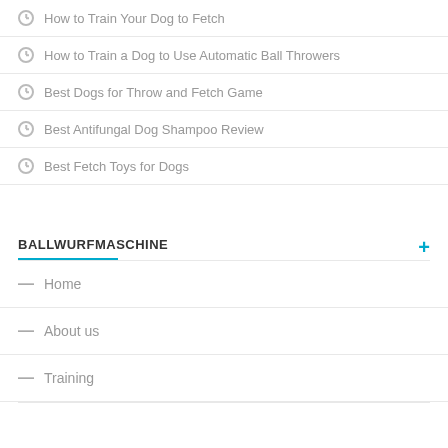How to Train Your Dog to Fetch
How to Train a Dog to Use Automatic Ball Throwers
Best Dogs for Throw and Fetch Game
Best Antifungal Dog Shampoo Review
Best Fetch Toys for Dogs
BALLWURFMASCHINE
Home
About us
Training